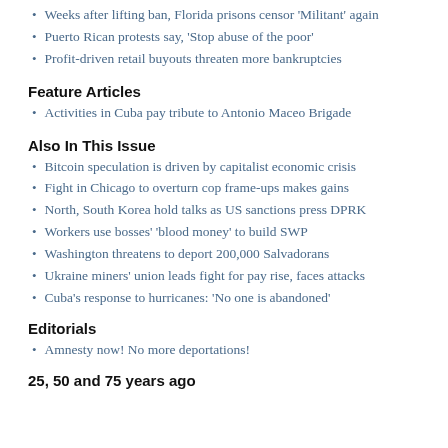Weeks after lifting ban, Florida prisons censor 'Militant' again
Puerto Rican protests say, 'Stop abuse of the poor'
Profit-driven retail buyouts threaten more bankruptcies
Feature Articles
Activities in Cuba pay tribute to Antonio Maceo Brigade
Also In This Issue
Bitcoin speculation is driven by capitalist economic crisis
Fight in Chicago to overturn cop frame-ups makes gains
North, South Korea hold talks as US sanctions press DPRK
Workers use bosses' 'blood money' to build SWP
Washington threatens to deport 200,000 Salvadorans
Ukraine miners' union leads fight for pay rise, faces attacks
Cuba's response to hurricanes: 'No one is abandoned'
Editorials
Amnesty now! No more deportations!
25, 50 and 75 years ago